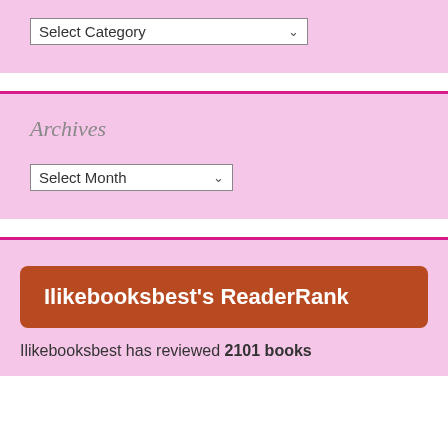[Figure (screenshot): Select Category dropdown widget on pink background]
Archives
[Figure (screenshot): Select Month dropdown widget on pink background]
Ilikebooksbest's ReaderRank
Ilikebooksbest has reviewed 2101 books